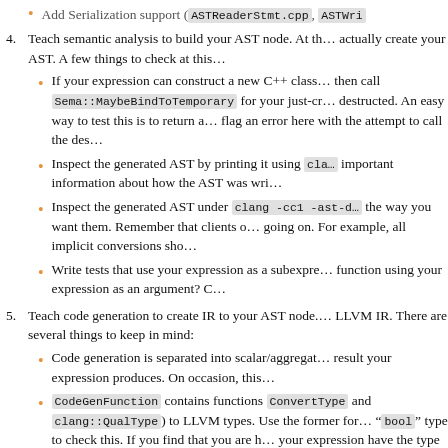Add Serialization support (ASTReaderStmt.cpp, ASTWr...
4. Teach semantic analysis to build your AST node. At th... actually create your AST. A few things to check at this...
If your expression can construct a new C++ class... then call Sema::MaybeBindToTemporary for your just-cr... destructed. An easy way to test this is to return a... flag an error here with the attempt to call the des...
Inspect the generated AST by printing it using cla... important information about how the AST was wri...
Inspect the generated AST under clang -cc1 -ast-d... the way you want them. Remember that clients o... going on. For example, all implicit conversions sho...
Write tests that use your expression as a subexpre... function using your expression as an argument? C...
5. Teach code generation to create IR to your AST node. LLVM IR. There are several things to keep in mind:
Code generation is separated into scalar/aggregat... result your expression produces. On occasion, this...
CodeGenFunction contains functions ConvertType and clang::QualType) to LLVM types. Use the former for "bool" type to check this. If you find that you are h... your expression have the type that your expressio... you don't need these bitcasts.